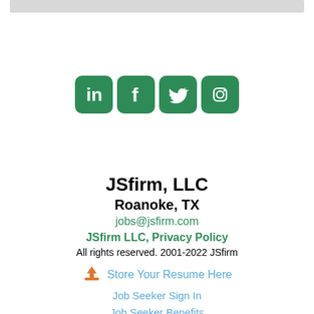[Figure (infographic): Social media icons: LinkedIn, Facebook, Twitter, Instagram — all with green rounded square backgrounds]
JSfirm, LLC
Roanoke, TX
jobs@jsfirm.com
JSfirm LLC, Privacy Policy
All rights reserved. 2001-2022 JSfirm
Store Your Resume Here
Job Seeker Sign In
Job Seeker Benefits